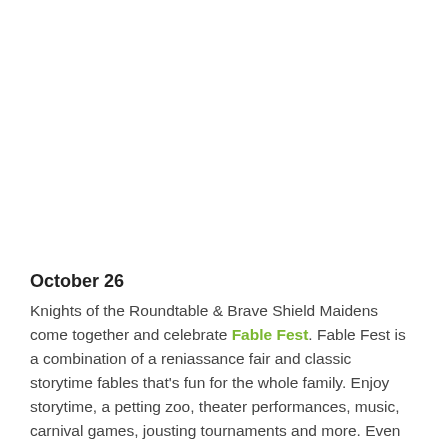October 26
Knights of the Roundtable & Brave Shield Maidens come together and celebrate Fable Fest. Fable Fest is a combination of a reniassance fair and classic storytime fables that's fun for the whole family. Enjoy storytime, a petting zoo, theater performances, music, carnival games, jousting tournaments and more. Even better is that all proceeds from this